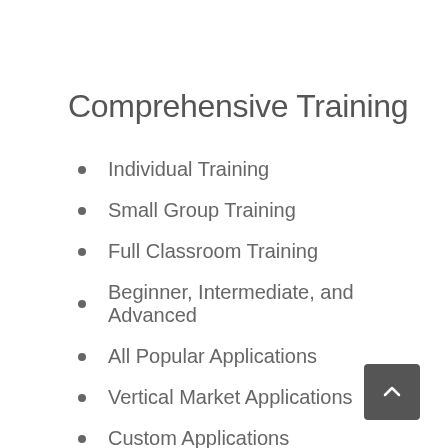Comprehensive Training
Individual Training
Small Group Training
Full Classroom Training
Beginner, Intermediate, and Advanced
All Popular Applications
Vertical Market Applications
Custom Applications
Operating Systems
Hardware Training